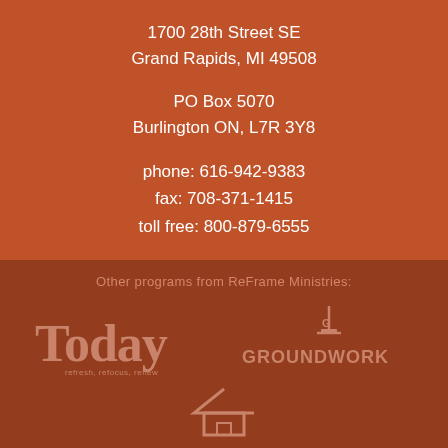1700 28th Street SE
Grand Rapids, MI 49508

PO Box 5070
Burlington ON, L7R 3Y8

phone: 616-942-9383
fax: 708-371-1415
toll free: 800-879-6555
Other programs from ReFrame Ministries:
[Figure (logo): Today - refresh, refocus, renew logo in large bold text]
[Figure (logo): Groundwork logo with shovel icon above text]